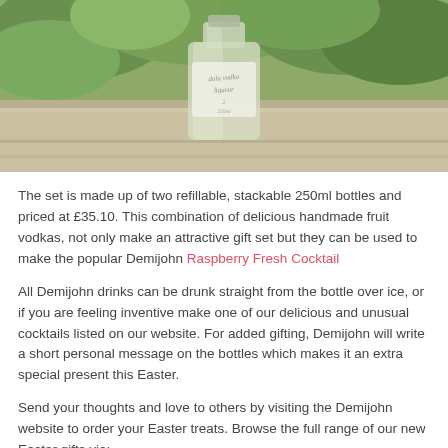[Figure (photo): Photo of a small glass bottle with handwritten label sitting on a wooden surface, with green foliage in the background.]
The set is made up of two refillable, stackable 250ml bottles and priced at £35.10. This combination of delicious handmade fruit vodkas, not only make an attractive gift set but they can be used to make the popular Demijohn Raspberry Fresh Cocktail
All Demijohn drinks can be drunk straight from the bottle over ice, or if you are feeling inventive make one of our delicious and unusual cocktails listed on our website. For added gifting, Demijohn will write a short personal message on the bottles which makes it an extra special present this Easter.
Send your thoughts and love to others by visiting the Demijohn website to order your Easter treats. Browse the full range of our new Easter gifts via: